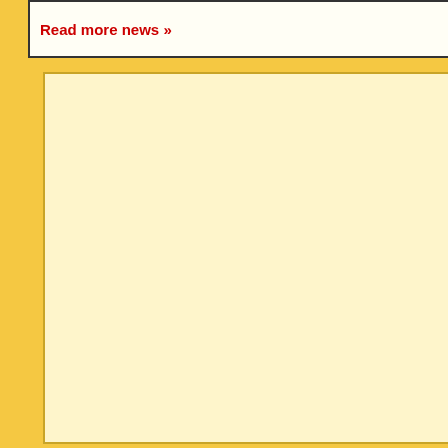Read more news »
[Figure (screenshot): Left cream-colored empty panel area]
Search for:
[ < Back | Next > ] [ Page: 1 ]
[Figure (screenshot): Remote control screen showing Pioneer DVD remote, labeled 1/3 Pause Play, and partial Sony Hi8 remote labeled 2/3 Pause Play, time 12:09am and 12:10a]
For: Philips TS-1000
By: John Quigley
[Figure (screenshot): Remote control screen showing CD remote at 08:24pm and another remote at 08:24p, bottom portion visible]